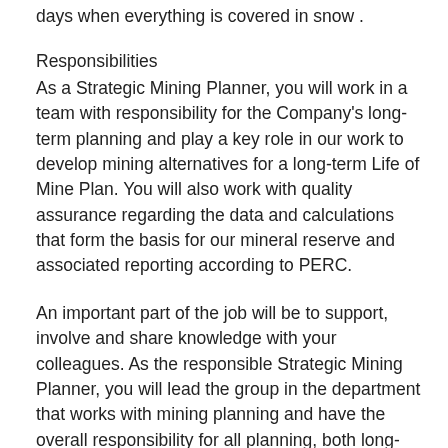days when everything is covered in snow .
Responsibilities
As a Strategic Mining Planner, you will work in a team with responsibility for the Company's long-term planning and play a key role in our work to develop mining alternatives for a long-term Life of Mine Plan. You will also work with quality assurance regarding the data and calculations that form the basis for our mineral reserve and associated reporting according to PERC.
An important part of the job will be to support, involve and share knowledge with your colleagues. As the responsible Strategic Mining Planner, you will lead the group in the department that works with mining planning and have the overall responsibility for all planning, both long-term and short-term, as well as drilling and blasting planning. The position is a key position for Kaunis Iron's future development and